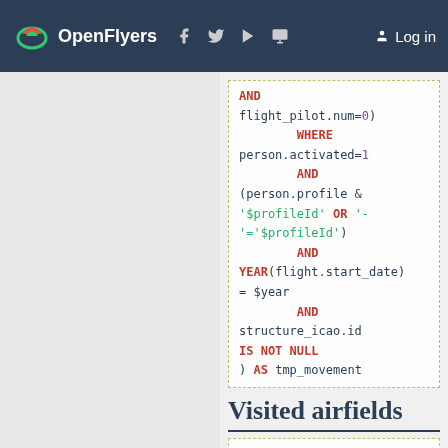OpenFlyers | Log in
AND flight_pilot.num=0) WHERE person.activated=1 AND (person.profile & '$profileId' OR '-'='$profileId') AND YEAR(flight.start_date) = $year AND structure_icao.id IS NOT NULL ) AS tmp_movement
Visited airfields
SELECT location.icao_name AS ICAO, location.name AS Name, COUNT(location.icao_name